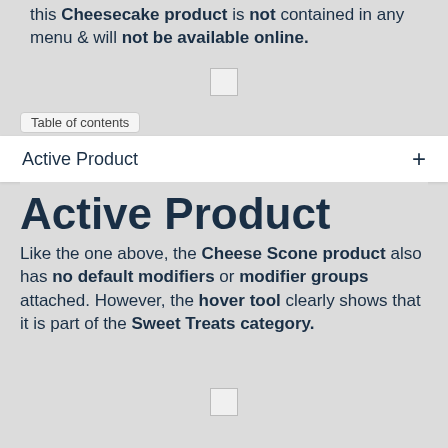this Cheesecake product is not contained in any menu & will not be available online.
Active Product
Like the one above, the Cheese Scone product also has no default modifiers or modifier groups attached. However, the hover tool clearly shows that it is part of the Sweet Treats category.
Following on from the Cheese Scone product above, let's back-track to the Category level.
In the image below, the Sweet Treats category is a part of the Kounta menu. Therefore, the Cheese Scone product will be displayed online.